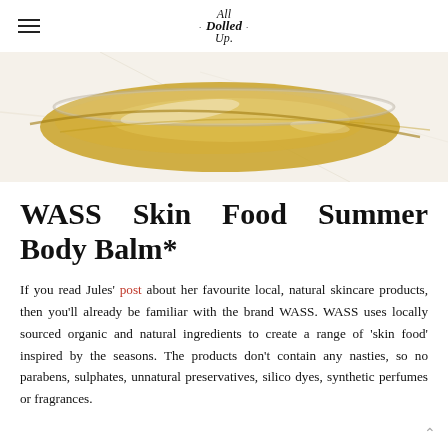All Dolled Up
[Figure (photo): Close-up photo of a glass jar with golden oil/balm product on a white marble surface]
WASS Skin Food Summer Body Balm*
If you read Jules' post about her favourite local, natural skincare products, then you'll already be familiar with the brand WASS. WASS uses locally sourced organic and natural ingredients to create a range of 'skin food' inspired by the seasons. The products don't contain any nasties, so no parabens, sulphates, unnatural preservatives, silico dyes, synthetic perfumes or fragrances.